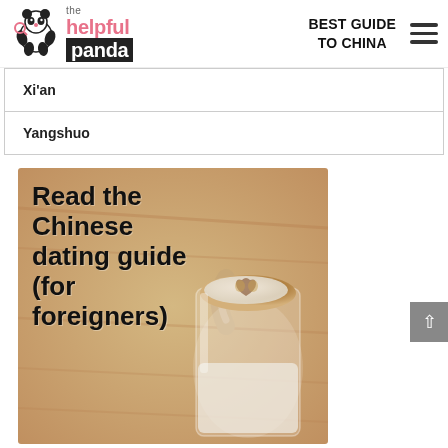the helpful panda — BEST GUIDE TO CHINA
Xi'an
Yangshuo
[Figure (photo): Promotional banner image with text 'Read the Chinese dating guide (for foreigners)' overlaid on a photo of a latte with a heart design in foam, on a wooden surface background.]